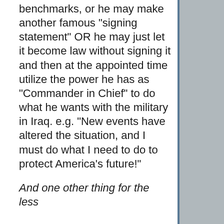benchmarks, or he may make another famous "signing statement" OR he may just let it become law without signing it and then at the appointed time utilize the power he has as "Commander in Chief" to do what he wants with the military in Iraq. e.g. "New events have altered the situation, and I must do what I need to do to protect America's future!"
And one other thing for the less